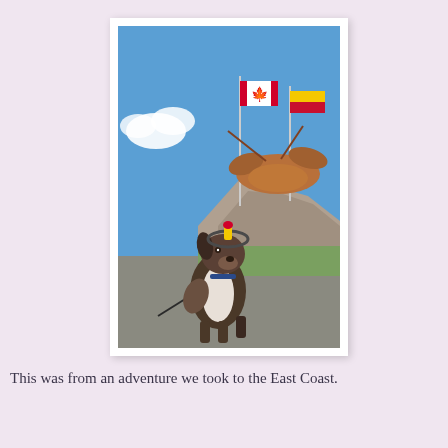[Figure (photo): A dog (Australian Shepherd) on a leash standing in front of a large lobster sculpture/statue on a rocky mound, with the Canadian flag and another provincial flag (New Brunswick) flying in the background under a blue sky with clouds. The dog appears to have a novelty toy on its head.]
This was from an adventure we took to the East Coast.